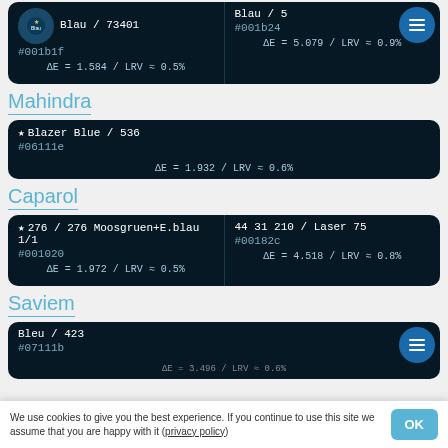Magirus (partial, top)
| ★ Blau / 73401
#001b1f
ΔE = 1.584 / LRV ≈ 0.5% | Blau / 5
#001b24
ΔE = 5.079 / LRV ≈ 0.9% |
Mahindra
| ★ Blazer Blue / 536
#06111e
ΔE = 1.932 / LRV ≈ 0.6% |
Caparol
| ★ 276 / 276 Moosgruen+E.blau 1/1
#001020
ΔE = 1.972 / LRV ≈ 0.5% | 44 31 210 / Laser 75
#00182c
ΔE = 4.518 / LRV ≈ 0.8% |
Saviem
| Bleu / 423
#07111b
ΔE = 3.496 / LRV ≈ 0.6% |
We use cookies to give you the best experience. If you continue to use this site we assume that you are happy with it (privacy policy)